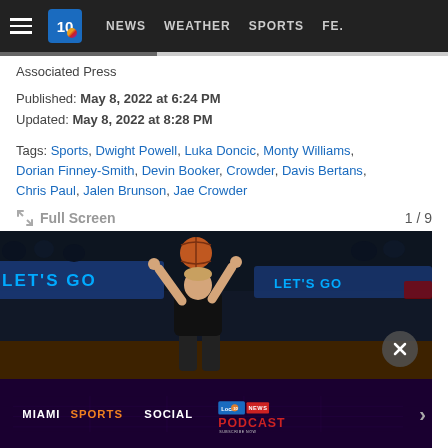NEWS  WEATHER  SPORTS  FE.
Associated Press
Published: May 8, 2022 at 6:24 PM
Updated: May 8, 2022 at 8:28 PM
Tags: Sports, Dwight Powell, Luka Doncic, Monty Williams, Dorian Finney-Smith, Devin Booker, Crowder, Davis Bertans, Chris Paul, Jalen Brunson, Jae Crowder
Full Screen  1 / 9
[Figure (photo): Basketball player shooting the ball in an NBA arena. 'Let's Go Mavs' signage visible in background.]
[Figure (infographic): Miami Sports Social Podcast advertisement banner for Local 10 News. Text reads: MIAMI SPORTS SOCIAL PODCAST, Subscribe Now.]